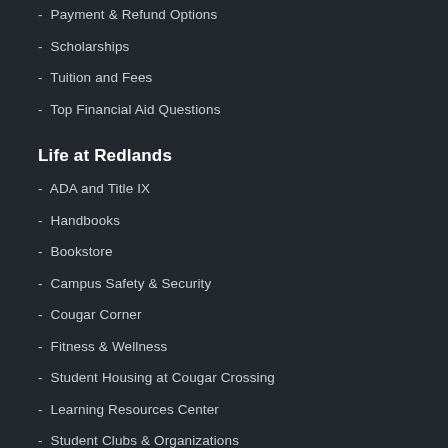- Payment & Refund Options
- Scholarships
- Tuition and Fees
- Top Financial Aid Questions
Life at Redlands
- ADA and Title IX
- Handbooks
- Bookstore
- Campus Safety & Security
- Cougar Corner
- Fitness & Wellness
- Student Housing at Cougar Crossing
- Learning Resources Center
- Student Clubs & Organizations
- Student Support